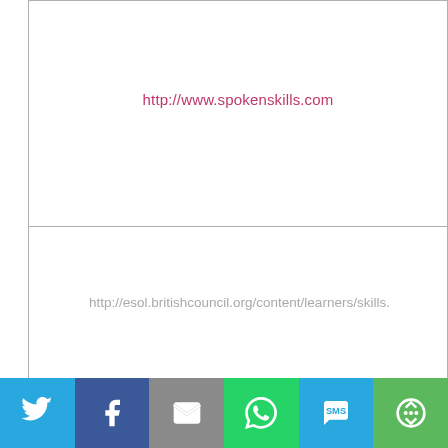http://www.spokenskills.com
http://esol.britishcouncil.org/content/learners/skills.
[Figure (other): Social sharing bar with icons for Twitter, Facebook, Email, WhatsApp, SMS, and More options]